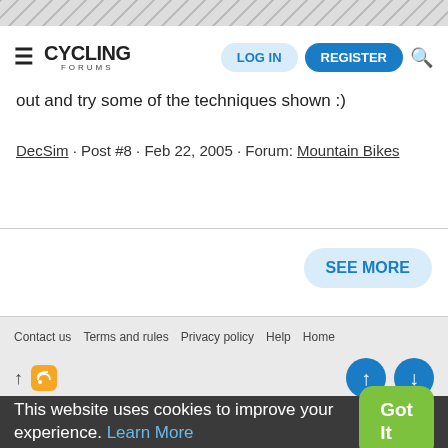Cycling Forums — LOG IN | REGISTER
out and try some of the techniques shown :)
DecSim · Post #8 · Feb 22, 2005 · Forum: Mountain Bikes
SEE MORE
Contact us   Terms and rules   Privacy policy   Help   Home
This website uses cookies to improve your experience. Learn More   Got It